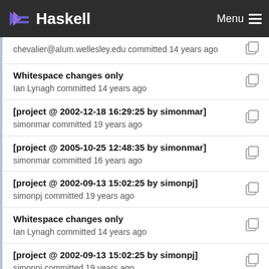Haskell  Menu
chevalier@alum.wellesley.edu committed 14 years ago
Whitespace changes only
Ian Lynagh committed 14 years ago
[project @ 2002-12-18 16:29:25 by simonmar]
simonmar committed 19 years ago
[project @ 2005-10-25 12:48:35 by simonmar]
simonmar committed 16 years ago
[project @ 2002-09-13 15:02:25 by simonpj]
simonpj committed 19 years ago
Whitespace changes only
Ian Lynagh committed 14 years ago
[project @ 2002-09-13 15:02:25 by simonpj]
simonpj committed 19 years ago
[project @ 2005-10-25 12:48:35 by simonmar]
simonmar committed 16 years ago